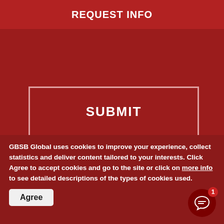REQUEST INFO
[Figure (screenshot): Red background section with a SUBMIT button outlined in a rectangular border]
JOIN SOCIAL MEDIA
GBSB Global uses cookies to improve your experience, collect statistics and deliver content tailored to your interests. Click Agree to accept cookies and go to the site or click on more info to see detailed descriptions of the types of cookies used.
Agree